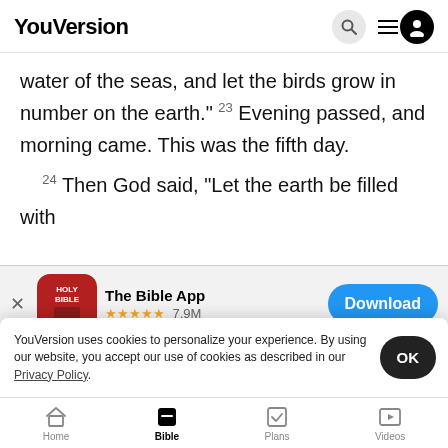YouVersion
water of the seas, and let the birds grow in number on the earth.” ²³ Evening passed, and morning came. This was the fifth day.
²⁴ Then God said, “Let the earth be filled with
[Figure (screenshot): The Bible App promotional banner with app icon (red Holy Bible book icon), name 'The Bible App', 4.5 star rating, 7.9M reviews, and a blue Download button]
and wild animals, and let each produce more of its kind.” A
²⁵ So God made the wild animals, the tame
YouVersion uses cookies to personalize your experience. By using our website, you accept our use of cookies as described in our Privacy Policy.
Home  Bible  Plans  Videos